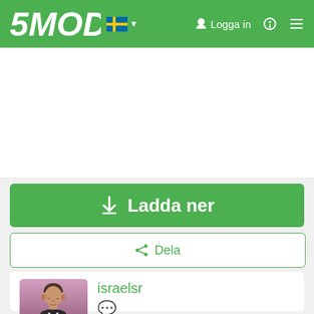5MODS — Logga in
[Figure (screenshot): GTA character avatar — Michael from GTA V in a suit]
Ladda ner
Dela
israelsr
[Figure (logo): Donera med PayPal button]